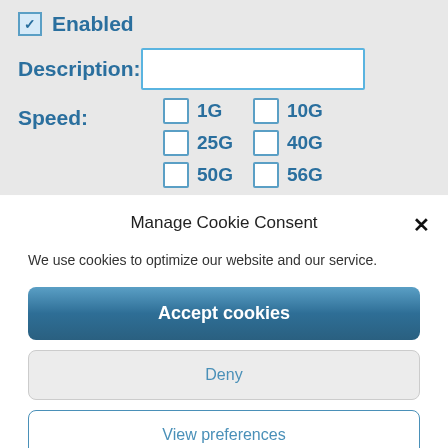☑ Enabled
Description:
Speed:
1G, 10G, 25G, 40G, 50G, 56G (checkboxes)
Manage Cookie Consent
We use cookies to optimize our website and our service.
Accept cookies
Deny
View preferences